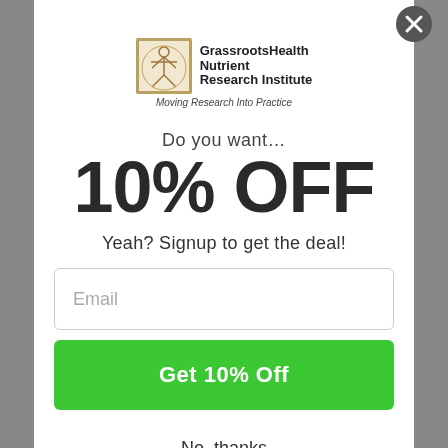[Figure (logo): GrassrootsHealth Nutrient Research Institute logo with Vitruvian man icon and tagline 'Moving Research Into Practice']
Do you want… 10% OFF
Yeah? Signup to get the deal!
Email
Get 10% Off
No, thanks